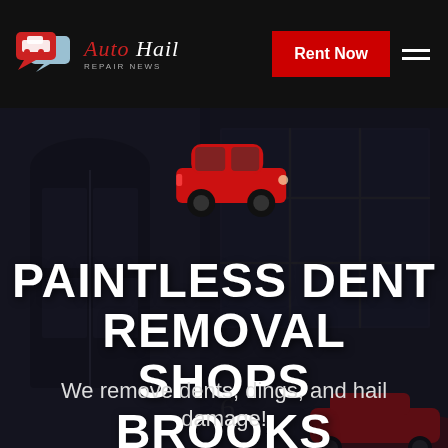Auto Hail Repair News — Rent Now
[Figure (illustration): Auto Hail Repair News logo with speech bubble car icons in red and light blue, with brand name in italic serif font]
PAINTLESS DENT REMOVAL SHOPS BROOKS MINNESOTA
We remove dents, dings, and hail damage!